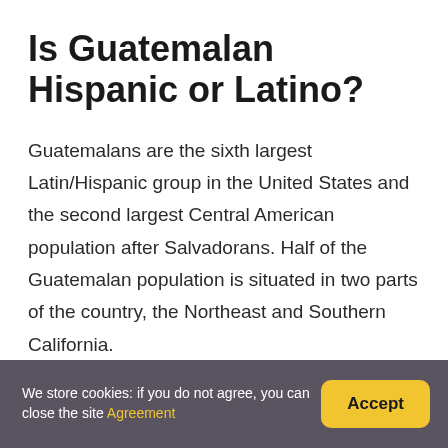Is Guatemalan Hispanic or Latino?
Guatemalans are the sixth largest Latin/Hispanic group in the United States and the second largest Central American population after Salvadorans. Half of the Guatemalan population is situated in two parts of the country, the Northeast and Southern California.
We store cookies: if you do not agree, you can close the site Agreement